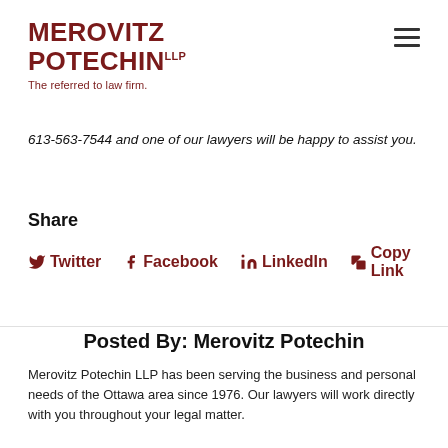MEROVITZ POTECHIN LLP — The referred to law firm.
613-563-7544 and one of our lawyers will be happy to assist you.
Share
Twitter  Facebook  LinkedIn  Copy Link
Posted By: Merovitz Potechin
Merovitz Potechin LLP has been serving the business and personal needs of the Ottawa area since 1976. Our lawyers will work directly with you throughout your legal matter.